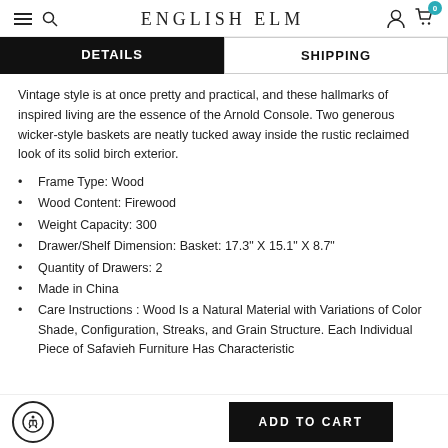ENGLISH ELM
DETAILS | SHIPPING
Vintage style is at once pretty and practical, and these hallmarks of inspired living are the essence of the Arnold Console. Two generous wicker-style baskets are neatly tucked away inside the rustic reclaimed look of its solid birch exterior.
Frame Type: Wood
Wood Content: Firewood
Weight Capacity: 300
Drawer/Shelf Dimension: Basket: 17.3" X 15.1" X 8.7"
Quantity of Drawers: 2
Made in China
Care Instructions : Wood Is a Natural Material with Variations of Color Shade, Configuration, Streaks, and Grain Structure. Each Individual Piece of Safavieh Furniture Has Characteristic